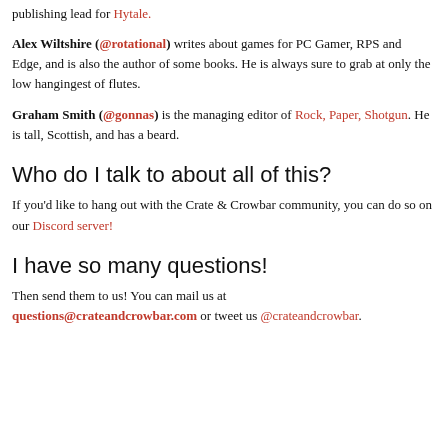publishing lead for Hytale.
Alex Wiltshire (@rotational) writes about games for PC Gamer, RPS and Edge, and is also the author of some books. He is always sure to grab at only the low hangingest of flutes.
Graham Smith (@gonnas) is the managing editor of Rock, Paper, Shotgun. He is tall, Scottish, and has a beard.
Who do I talk to about all of this?
If you'd like to hang out with the Crate & Crowbar community, you can do so on our Discord server!
I have so many questions!
Then send them to us! You can mail us at questions@crateandcrowbar.com or tweet us @crateandcrowbar.